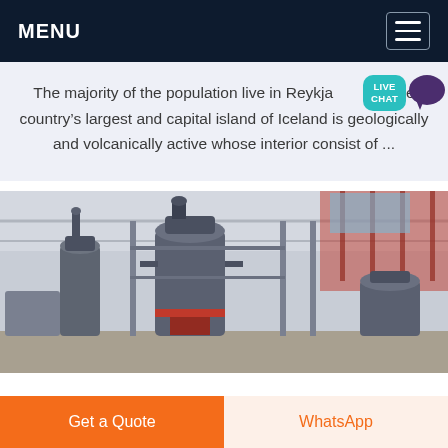MENU
The majority of the population live in Reykja... the country's largest and capital island of Iceland is geologically and volcanically active whose interior consist of ...
[Figure (photo): Industrial facility interior showing large grey cylindrical mill machines on a concrete floor inside a steel-framed warehouse with red overhead structures visible in the background.]
Get a Quote
WhatsApp